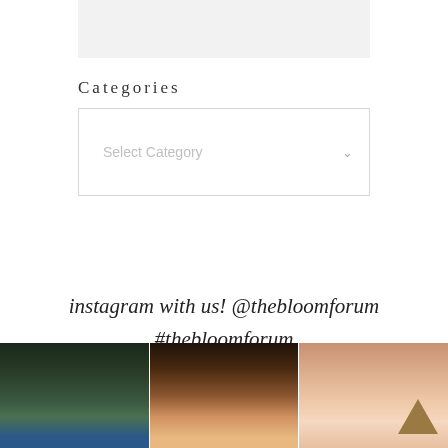[Figure (other): Light gray placeholder image box at top]
Categories
[Figure (other): Dropdown select box with placeholder text 'Select Category' and a chevron arrow]
instagram with us! @thebloomforum #thebloomforum
[Figure (photo): Three side-by-side Instagram photos at the bottom: first shows a child in a blue hat with a chalkboard background, second shows children in Halloween costumes, third shows a child smiling showing missing teeth]